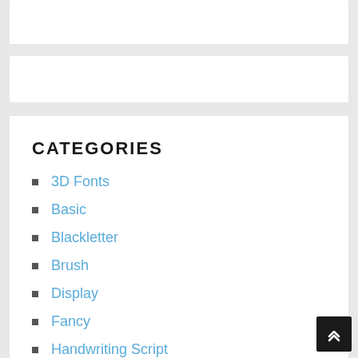CATEGORIES
3D Fonts
Basic
Blackletter
Brush
Display
Fancy
Handwriting Script
Handwritten